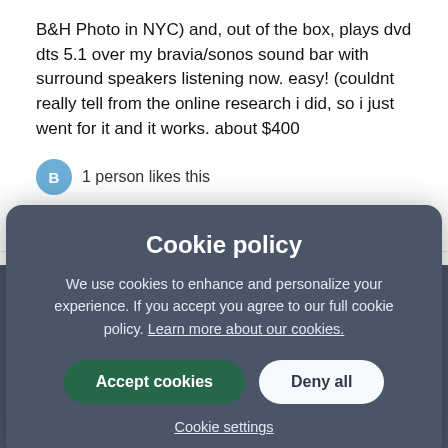B&H Photo in NYC) and, out of the box, plays dvd dts 5.1 over my bravia/sonos sound bar with surround speakers listening now. easy! (couldnt really tell from the online research i did, so i just went for it and it works. about $400
1 person likes this
mark-mark   3 years ago
Never actually realized this was an issue with ATMOS until I recently bought the Beam Gen 2 for the family room where the kids watch tv. We have lots of streaming services but also buy some blu rays for the kids and couldn't actually playback the blu Ray works fine on my main living room setup but not the family room setup.
Cookie policy
We use cookies to enhance and personalize your experience. If you accept you agree to our full cookie policy. Learn more about our cookies.
Accept cookies   Deny all
Cookie settings